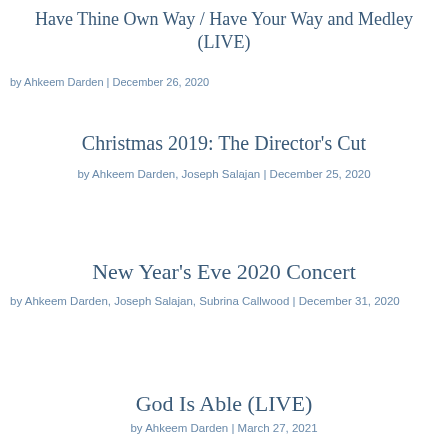Have Thine Own Way / Have Your Way and Medley (LIVE)
by Ahkeem Darden | December 26, 2020
Christmas 2019: The Director's Cut
by Ahkeem Darden, Joseph Salajan | December 25, 2020
New Year's Eve 2020 Concert
by Ahkeem Darden, Joseph Salajan, Subrina Callwood | December 31, 2020
God Is Able (LIVE)
by Ahkeem Darden | March 27, 2021